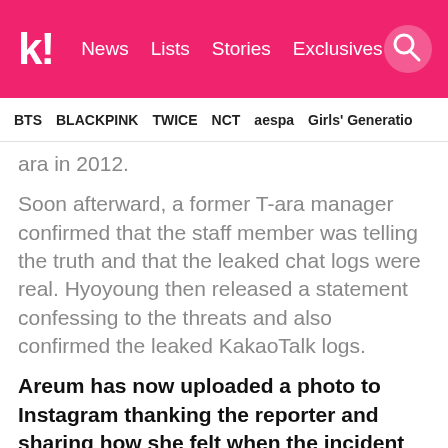k! News | Lists | Stories | Exclusives
BTS | BLACKPINK | TWICE | NCT | aespa | Girls' Generation
ara in 2012.
Soon afterward, a former T-ara manager confirmed that the staff member was telling the truth and that the leaked chat logs were real. Hyoyoung then released a statement confessing to the threats and also confirmed the leaked KakaoTalk logs.
Areum has now uploaded a photo to Instagram thanking the reporter and sharing how she felt when the incident first occurred in 2012.